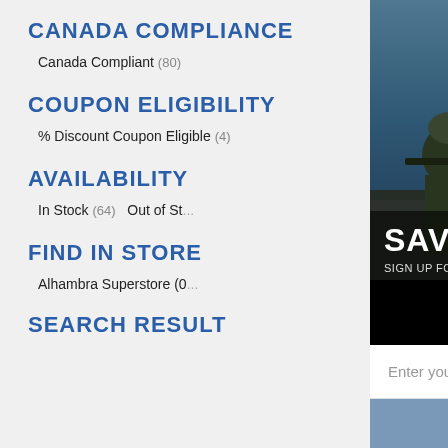CANADA COMPLIANCE
Canada Compliant (80)
COUPON ELIGIBILITY
% Discount Coupon Eligible (4)
AVAILABILITY
In Stock (64)  Out of Stock
FIND IN STORE
Alhambra Superstore (0...
SEARCH RESULT
[Figure (photo): Popup overlay showing soldiers in military gear aiming rifles, with newsletter signup form. Headline reads SAVE ON YOUR FIR[ST], subtext SIGN UP FOR OUR NEWSLETTER BELOW, AND SAVE, email input field, and Subscribe button.]